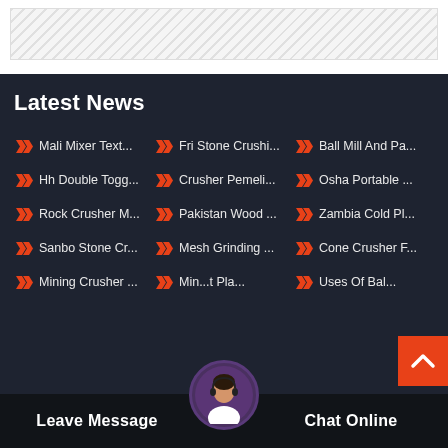Latest News
Mali Mixer Text...
Fri Stone Crushi...
Ball Mill And Pa...
Hh Double Togg...
Crusher Pemeli...
Osha Portable ...
Rock Crusher M...
Pakistan Wood ...
Zambia Cold Pl...
Sanbo Stone Cr...
Mesh Grinding ...
Cone Crusher F...
Mining Crusher ...
Min... t Pla...
Uses Of Bal...
Leave Message
Chat Online